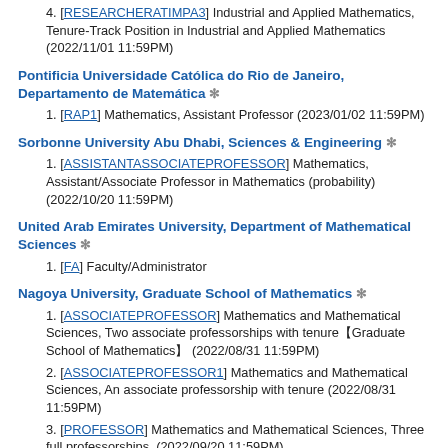4. [RESEARCHERATIMPA3] Industrial and Applied Mathematics, Tenure-Track Position in Industrial and Applied Mathematics (2022/11/01 11:59PM)
Pontificia Universidade Católica do Rio de Janeiro, Departamento de Matemática *
1. [RAP1] Mathematics, Assistant Professor (2023/01/02 11:59PM)
Sorbonne University Abu Dhabi, Sciences & Engineering *
1. [ASSISTANTASSOCIATEPROFESSOR] Mathematics, Assistant/Associate Professor in Mathematics (probability) (2022/10/20 11:59PM)
United Arab Emirates University, Department of Mathematical Sciences *
1. [FA] Faculty/Administrator
Nagoya University, Graduate School of Mathematics *
1. [ASSOCIATEPROFESSOR] Mathematics and Mathematical Sciences, Two associate professorships with tenure【Graduate School of Mathematics】 (2022/08/31 11:59PM)
2. [ASSOCIATEPROFESSOR1] Mathematics and Mathematical Sciences, An associate professorship with tenure (2022/08/31 11:59PM)
3. [PROFESSOR] Mathematics and Mathematical Sciences, Three full professorships. (2022/09/20 11:59PM)